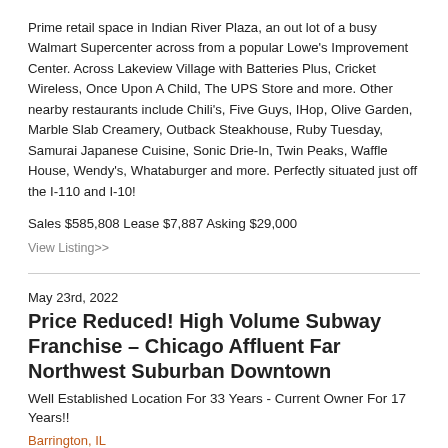Prime retail space in Indian River Plaza, an out lot of a busy Walmart Supercenter across from a popular Lowe's Improvement Center. Across Lakeview Village with Batteries Plus, Cricket Wireless, Once Upon A Child, The UPS Store and more. Other nearby restaurants include Chili's, Five Guys, IHop, Olive Garden, Marble Slab Creamery, Outback Steakhouse, Ruby Tuesday, Samurai Japanese Cuisine, Sonic Drie-In, Twin Peaks, Waffle House, Wendy's, Whataburger and more. Perfectly situated just off the I-110 and I-10!
Sales $585,808 Lease $7,887 Asking $29,000
View Listing>>
May 23rd, 2022
Price Reduced! High Volume Subway Franchise – Chicago Affluent Far Northwest Suburban Downtown
Well Established Location For 33 Years - Current Owner For 17 Years!!
Barrington, IL